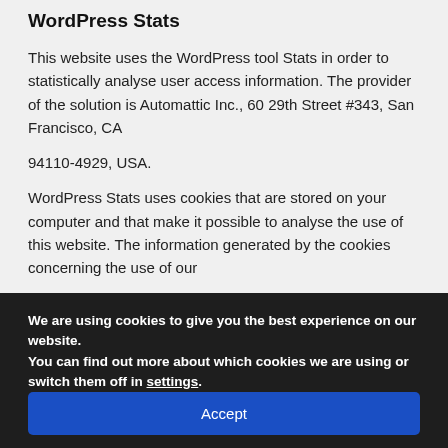WordPress Stats
This website uses the WordPress tool Stats in order to statistically analyse user access information. The provider of the solution is Automattic Inc., 60 29th Street #343, San Francisco, CA
94110-4929, USA.
WordPress Stats uses cookies that are stored on your computer and that make it possible to analyse the use of this website. The information generated by the cookies concerning the use of our
website is stored on servers in the United States. Your IP
We are using cookies to give you the best experience on our website.
You can find out more about which cookies we are using or switch them off in settings.
Accept